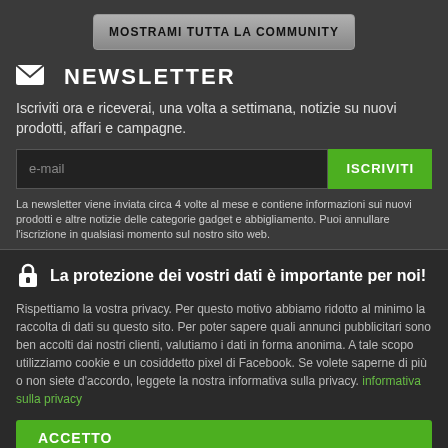MOSTRAMI TUTTA LA COMMUNITY
NEWSLETTER
Iscriviti ora e riceverai, una volta a settimana, notizie su nuovi prodotti, affari e campagne.
e-mail
ISCRIVITI
La newsletter viene inviata circa 4 volte al mese e contiene informazioni sui nuovi prodotti e altre notizie delle categorie gadget e abbigliamento. Puoi annullare l'iscrizione in qualsiasi momento sul nostro sito web.
La protezione dei vostri dati è importante per noi!
Rispettiamo la vostra privacy. Per questo motivo abbiamo ridotto al minimo la raccolta di dati su questo sito. Per poter sapere quali annunci pubblicitari sono ben accolti dai nostri clienti, valutiamo i dati in forma anonima. A tale scopo utilizziamo cookie e un cosiddetto pixel di Facebook. Se volete saperne di più o non siete d'accordo, leggete la nostra informativa sulla privacy. informativa sulla privacy
ACCETTO